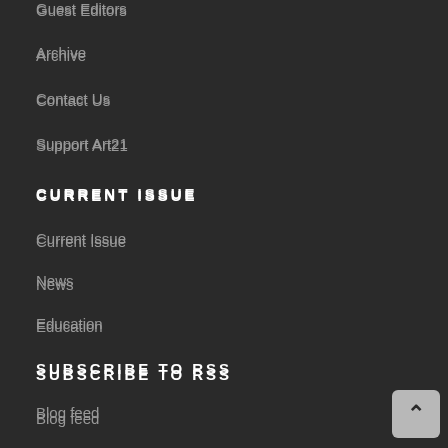Guest Editors
Archive
Contact Us
Support Art21
CURRENT ISSUE
Current Issue
News
Education
SUBSCRIBE TO RSS
Blog feed
Video feed
Education feed
Guest Blog feed
CONNECT WITH US